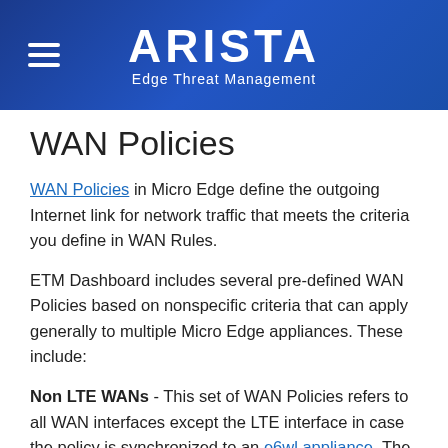ARISTA Edge Threat Management
WAN Policies
WAN Policies in Micro Edge define the outgoing Internet link for network traffic that meets the criteria you define in WAN Rules.
ETM Dashboard includes several pre-defined WAN Policies based on nonspecific criteria that can apply generally to multiple Micro Edge appliances. These include:
Non LTE WANs - This set of WAN Policies refers to all WAN interfaces except the LTE interface in case the policy is synchronized to an e6wl appliance. The Non LTE WAN policies are designed to identify the optimal WAN link based on Jitter, Latency, or Available Bandwidth.